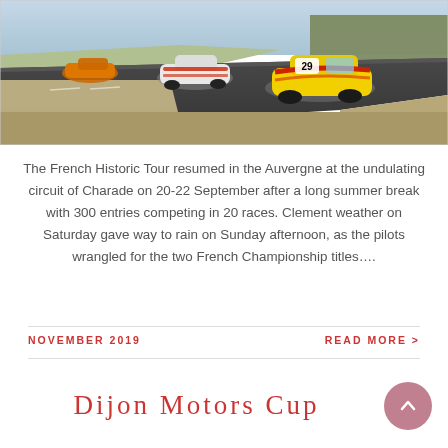[Figure (photo): Racing cars on a track circuit — a yellow Porsche 911 with number 29 and red/orange livery leads a white Porsche and an orange car in the background, navigating a curving asphalt circuit with dry grass and trees visible.]
The French Historic Tour resumed in the Auvergne at the undulating circuit of Charade on 20-22 September after a long summer break with 300 entries competing in 20 races. Clement weather on Saturday gave way to rain on Sunday afternoon, as the pilots wrangled for the two French Championship titles....
NOVEMBER 2019
READ MORE >
Dijon Motors Cup